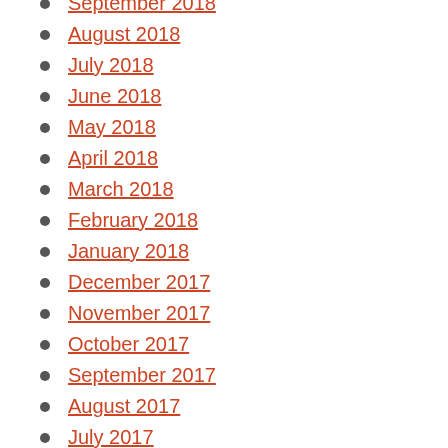September 2018
August 2018
July 2018
June 2018
May 2018
April 2018
March 2018
February 2018
January 2018
December 2017
November 2017
October 2017
September 2017
August 2017
July 2017
June 2017
May 2017
April 2017
March 2017
February 2017
January 2017